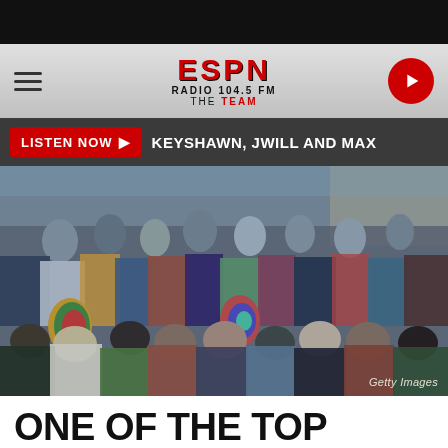ESPN Radio 104.5 FM The Team
LISTEN NOW ▶  KEYSHAWN, JWILL AND MAX
[Figure (photo): Large crowd of people packed together outdoors, viewed from above and behind, colorful clothing including tie-dye shirts. Getty Images watermark in lower right.]
Getty Images
ONE OF THE TOP SELLING